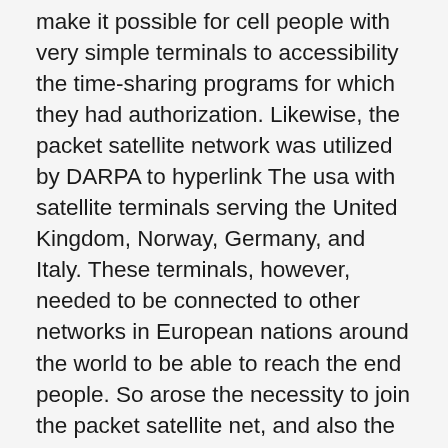make it possible for cell people with very simple terminals to accessibility the time-sharing programs for which they had authorization. Likewise, the packet satellite network was utilized by DARPA to hyperlink The usa with satellite terminals serving the United Kingdom, Norway, Germany, and Italy. These terminals, however, needed to be connected to other networks in European nations around the world to be able to reach the end people. So arose the necessity to join the packet satellite net, and also the packet radio net, with other networks. Foundation of the online world The Internet resulted from the trouble to connect different investigate networks in The usa and Europe. 1st, DARPA recognized a system to research the interconnection of